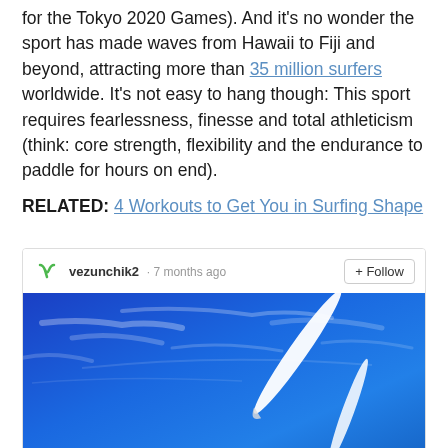for the Tokyo 2020 Games). And it's no wonder the sport has made waves from Hawaii to Fiji and beyond, attracting more than 35 million surfers worldwide. It's not easy to hang though: This sport requires fearlessness, finesse and total athleticism (think: core strength, flexibility and the endurance to paddle for hours on end).
RELATED: 4 Workouts to Get You in Surfing Shape
[Figure (screenshot): Embedded social media post by user 'vezunchik2' posted 7 months ago with a Follow button, showing a photo of a surfer against a bright blue sky holding a white surfboard.]